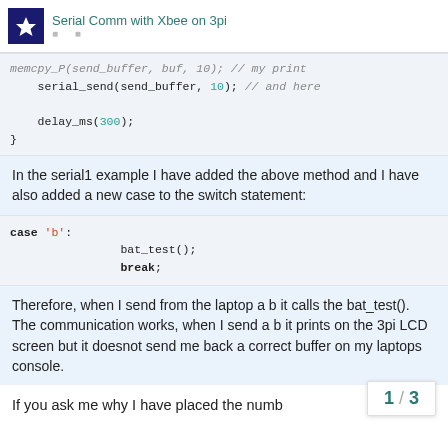Serial Comm with Xbee on 3pi
[Figure (screenshot): Code block showing serial_send(send_buffer, 10); // and here and delay_ms(300); closing brace]
In the serial1 example I have added the above method and I have also added a new case to the switch statement:
[Figure (screenshot): Code block showing case 'b': bat_test(); break;]
Therefore, when I send from the laptop a b it calls the bat_test(). The communication works, when I send a b it prints on the 3pi LCD screen but it doesnot send me back a correct buffer on my laptops console.
If you ask me why I have placed the numb
1 / 3